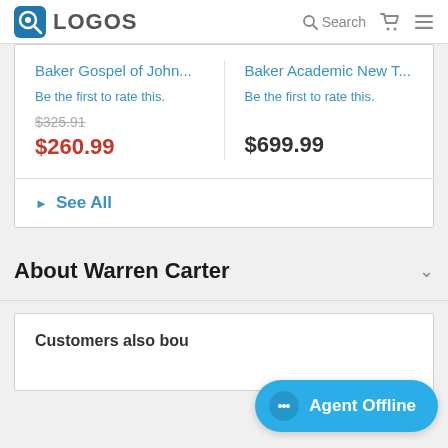LOGOS | Search
Baker Gospel of John...
Be the first to rate this.
$325.91
$260.99
Baker Academic New T...
Be the first to rate this.
$699.99
▶ See All
About Warren Carter
Customers also bou...
Agent Offline